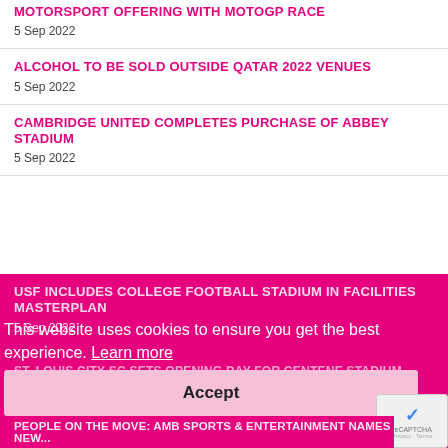MOTORSPORT OFFERING WITH MOTOGP RACE
5 Sep 2022
ALCOHOL TO BE SOLD OUTSIDE QATAR 2022 VENUES
5 Sep 2022
CAMBRIDGE UNITED COMPLETES PURCHASE OF ABBEY STADIUM
5 Sep 2022
USF INCLUDES COLLEGE FOOTBALL STADIUM IN FACILITIES MASTERPLAN
5 Sep 2022
This website uses cookies to ensure you get the best experience. Learn more
Accept
ST. LOUIS CITY SC SETS OPENING DAY FOR CENTENE STADIUM
5 Sep 2022
PEOPLE ON THE MOVE: AMB SPORTS & ENTERTAINMENT NAMES NEW...